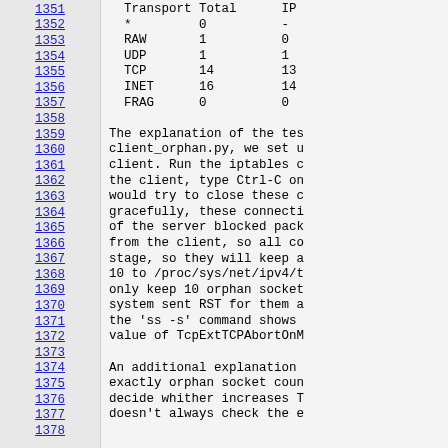| Transport | Total | IP |
| --- | --- | --- |
| * | 0 | - |
| RAW | 1 | 0 |
| UDP | 1 | 1 |
| TCP | 14 | 13 |
| INET | 16 | 14 |
| FRAG | 0 | 0 |
The explanation of the tes client_orphan.py, we set u client. Run the iptables c the client, type Ctrl-C on would try to close these c gracefully, these connecti of the server blocked pack from the client, so all co stage, so they will keep a 10 to /proc/sys/net/ipv4/t only keep 10 orphan socket system sent RST for them a the 'ss -s' command shows value of TcpExtTCPAbortOnM
An additional explanation exactly orphan socket coun decide whither increases T doesn't always check the e